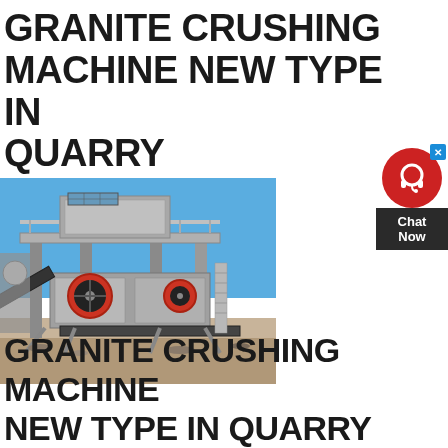GRANITE CRUSHING MACHINE NEW TYPE IN QUARRY
[Figure (photo): Industrial granite crushing machine / mobile jaw crusher plant on a construction/quarry site against a blue sky background. Large metal frame structure with conveyor belts, red flywheel, and elevated platform.]
GRANITE CRUSHING MACHINE NEW TYPE IN QUARRY